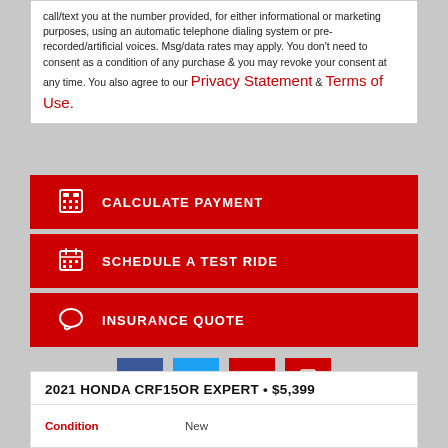call/text you at the number provided, for either informational or marketing purposes, using an automatic telephone dialing system or pre-recorded/artificial voices. Msg/data rates may apply. You don't need to consent as a condition of any purchase & you may revoke your consent at any time. You also agree to our Privacy Statement & Terms of Use.
CALCULATE PAYMENT
SCHEDULE A TEST RIDE
INSURANCE QUOTE
[Figure (infographic): Social sharing buttons: Facebook, Twitter, Email, Print]
2021 HONDA CRF15OR EXPERT • $5,399
| Condition | New |
| --- | --- |